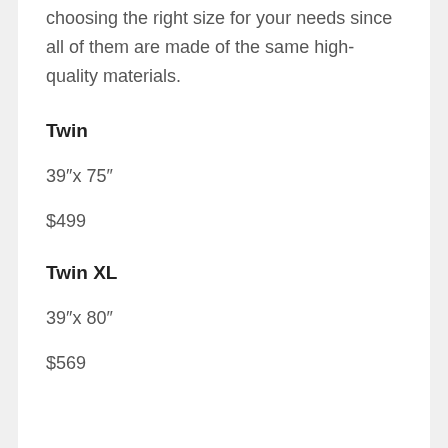choosing the right size for your needs since all of them are made of the same high-quality materials.
Twin
39″x 75″
$499
Twin XL
39″x 80″
$569